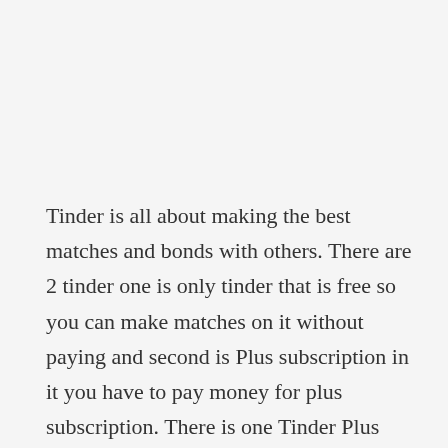Tinder is all about making the best matches and bonds with others. There are 2 tinder one is only tinder that is free so you can make matches on it without paying and second is Plus subscription in it you have to pay money for plus subscription. There is one Tinder Plus subscription and another one is Tinder Gold, both offer different features like see who liked you on tinder, unlimited swipe,